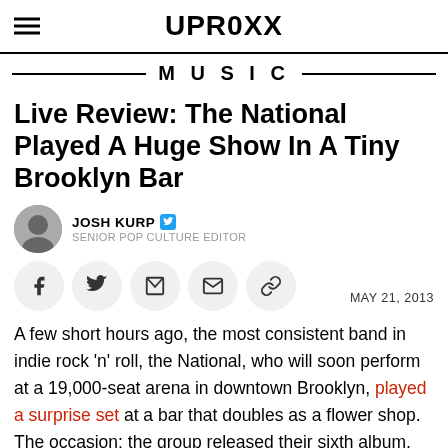UPROXX
MUSIC
Live Review: The National Played A Huge Show In A Tiny Brooklyn Bar
JOSH KURP  SENIOR POP CULTURE EDITOR
MAY 21, 2013
A few short hours ago, the most consistent band in indie rock 'n' roll, the National, who will soon perform at a 19,000-seat arena in downtown Brooklyn, played a surprise set at a bar that doubles as a flower shop. The occasion: the group released their sixth album, Trouble Will Find Me, today, and they're making the